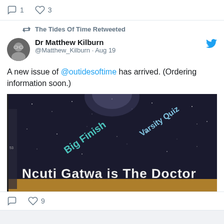[Figure (screenshot): Partial tweet bottom showing reply count 1 and like count 3]
The Tides Of Time Retweeted
Dr Matthew Kilburn @Matthew_Kilburn · Aug 19
A new issue of @outidesoftime has arrived. (Ordering information soon.)
[Figure (photo): Magazine cover showing 'Ncuti Gatwa is The Doctor' on dark space background with Big Finish and Varsity Quiz text]
Reply 0, Like 9